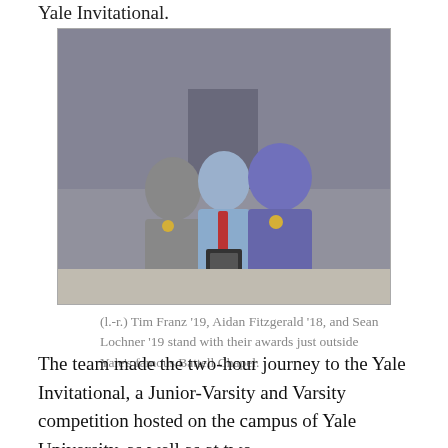Yale Invitational.
[Figure (photo): Three teenage boys standing outside Yale's Battell Chapel. Left boy wears a gray t-shirt with a medal, center boy wears a light blue shirt with red tie and holds a plaque, right boy wears a purple jersey with a purple tie and medal.]
(l.-r.) Tim Franz '19, Aidan Fitzgerald '18, and Sean Lochner '19 stand with their awards just outside Yale's famous Battell Chapel.
The team made the two-hour journey to the Yale Invitational, a Junior-Varsity and Varsity competition hosted on the campus of Yale University, as well as at two nearby high schools. The team found off…